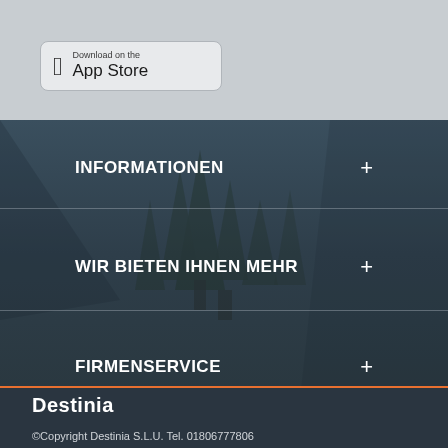[Figure (screenshot): App Store download button with Apple logo]
INFORMATIONEN
WIR BIETEN IHNEN MEHR
FIRMENSERVICE
[Figure (logo): Destinia logo in white bold text]
©Copyright Destinia S.L.U. Tel. 01806777806